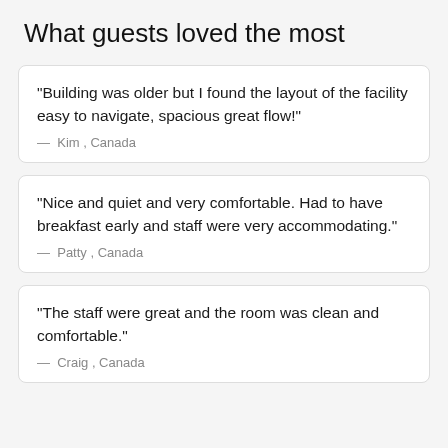What guests loved the most
“Building was older but I found the layout of the facility easy to navigate, spacious great flow!”
—  Kim , Canada
“Nice and quiet and very comfortable. Had to have breakfast early and staff were very accommodating.”
—  Patty , Canada
“The staff were great and the room was clean and comfortable.”
—  Craig , Canada